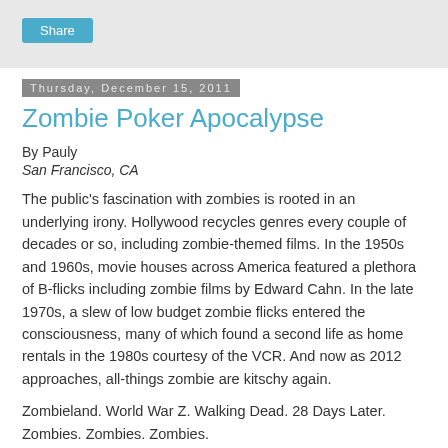Share
Zombie Poker Apocalypse
Thursday, December 15, 2011
By Pauly
San Francisco, CA
The public's fascination with zombies is rooted in an underlying irony. Hollywood recycles genres every couple of decades or so, including zombie-themed films. In the 1950s and 1960s, movie houses across America featured a plethora of B-flicks including zombie films by Edward Cahn. In the late 1970s, a slew of low budget zombie flicks entered the consciousness, many of which found a second life as home rentals in the 1980s courtesy of the VCR. And now as 2012 approaches, all-things zombie are kitschy again.
Zombieland. World War Z. Walking Dead. 28 Days Later. Zombies. Zombies. Zombies.